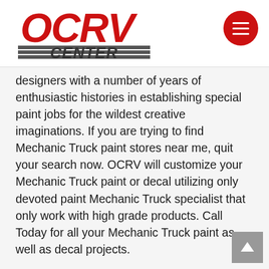OCRV CENTER
designers with a number of years of enthusiastic histories in establishing special paint jobs for the wildest creative imaginations. If you are trying to find Mechanic Truck paint stores near me, quit your search now. OCRV will customize your Mechanic Truck paint or decal utilizing only devoted paint Mechanic Truck specialist that only work with high grade products. Call Today for all your Mechanic Truck paint as well as decal projects.
MECHANIC TRUCK INTERIOR REMODELING ORANGE COUNTY
Whatever your mind can develop we can attain. OCRV is the Mechanic Truck interior center for the Mechanic Truck of your dreams. If you are in the marketplace for a Mechanic Truck interior that fits your personal style or making a couple of upgrades that increase the personal feel of the area you currently have, let us bring your vision